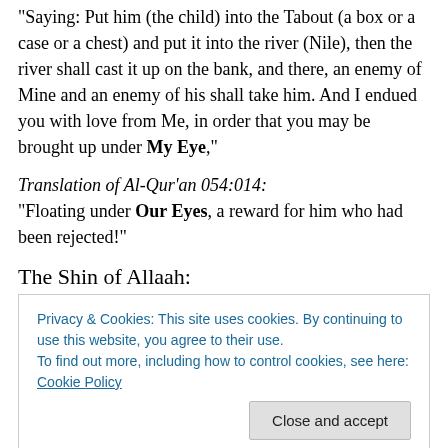Saying: Put him (the child) into the Tabout (a box or a case or a chest) and put it into the river (Nile), then the river shall cast it up on the bank, and there, an enemy of Mine and an enemy of his shall take him. And I endued you with love from Me, in order that you may be brought up under My Eye,”
Translation of Al-Qur’an 054:014:
“Floating under Our Eyes, a reward for him who had been rejected!”
The Shin of Allaah:
Privacy & Cookies: This site uses cookies. By continuing to use this website, you agree to their use.
To find out more, including how to control cookies, see here: Cookie Policy
to do so.”